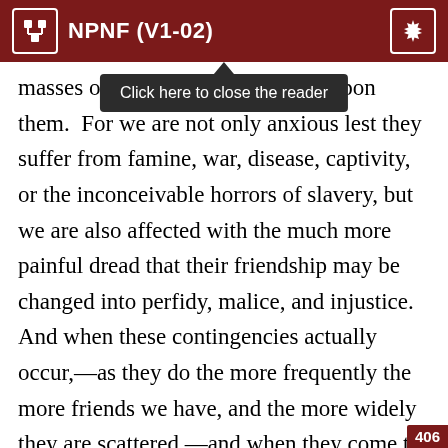NPNF (V1-02)
masses of t[he calamities that fall upon] them. For we are not only anxious lest they suffer from famine, war, disease, captivity, or the inconceivable horrors of slavery, but we are also affected with the much more painful dread that their friendship may be changed into perfidy, malice, and injustice.  And when these contingencies actually occur,—as they do the more frequently the more friends we have, and the more widely they are scattered,—and when they come to our knowledge, who but the man who has experienced it can tell with what pangs the heart is torn?  We would, in fact, prefer to hear that they were dead, although we could not without
406